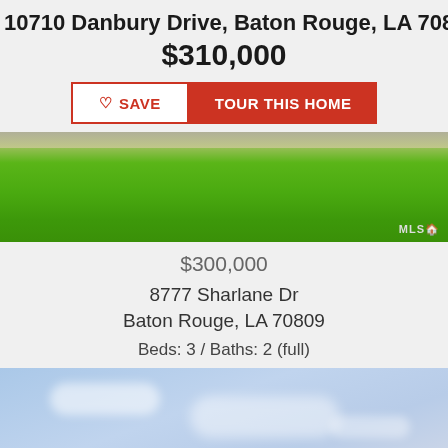10710 Danbury Drive, Baton Rouge, LA 70808
$310,000
[Figure (screenshot): Save and Tour This Home buttons]
[Figure (photo): Front lawn photo with green grass and MLS badge]
$300,000
8777 Sharlane Dr
Baton Rouge, LA 70809
Beds: 3 / Baths: 2 (full)
[Figure (photo): Exterior photo of houses with blue cloudy sky]